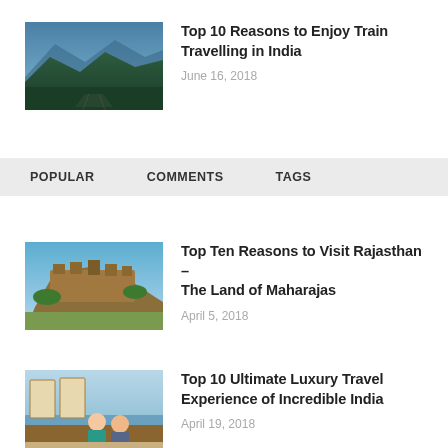[Figure (photo): Mountain landscape with forested hills and a train track, blue-toned]
Top 10 Reasons to Enjoy Train Travelling in India
June 16, 2018
POPULAR   COMMENTS   TAGS
[Figure (photo): Ancient hilltop fort with blue sky, Rajasthan]
Top Ten Reasons to Visit Rajasthan – The Land of Maharajas
April 5, 2018
[Figure (photo): Couple sitting on a luxury boat with ocean in background]
Top 10 Ultimate Luxury Travel Experience of Incredible India
April 19, 2018
[Figure (photo): Partial view of a luxury train — cropped at bottom]
Deccan Odyssey: The Luxury Train